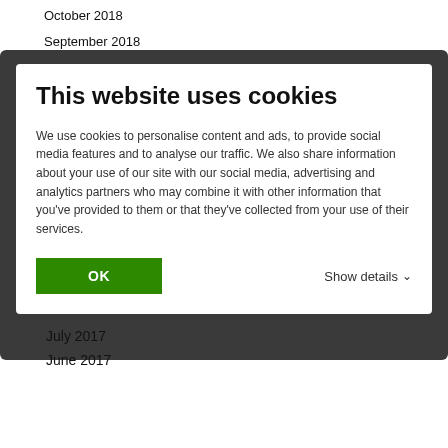October 2018
September 2018
[Figure (screenshot): Cookie consent dialog overlay with dark background. Contains title 'This website uses cookies', body text about cookie usage, an OK button in green, and a 'Show details' link with chevron.]
July 2017
June 2017